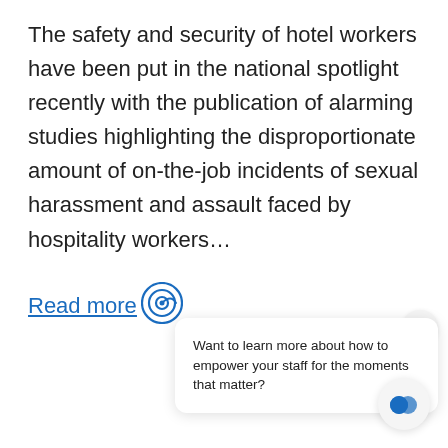The safety and security of hotel workers have been put in the national spotlight recently with the publication of alarming studies highlighting the disproportionate amount of on-the-job incidents of sexual harassment and assault faced by hospitality workers…
Read more
Want to learn more about how to empower your staff for the moments that matter?